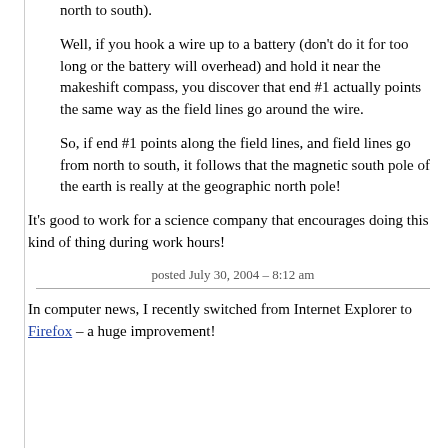north to south).
Well, if you hook a wire up to a battery (don’t do it for too long or the battery will overhead) and hold it near the makeshift compass, you discover that end #1 actually points the same way as the field lines go around the wire.
So, if end #1 points along the field lines, and field lines go from north to south, it follows that the magnetic south pole of the earth is really at the geographic north pole!
It’s good to work for a science company that encourages doing this kind of thing during work hours!
posted July 30, 2004 – 8:12 am
In computer news, I recently switched from Internet Explorer to Firefox – a huge improvement!